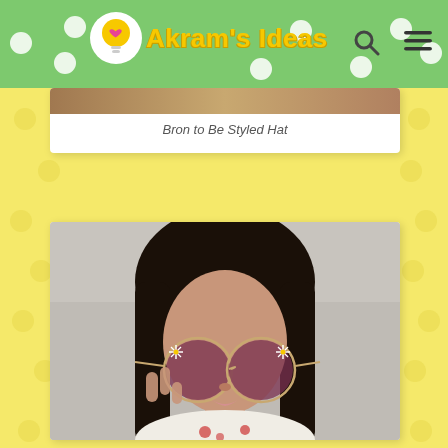Akram's Ideas
Bron to Be Styled Hat
[Figure (photo): Woman wearing round sunglasses with decorative palm tree / flower accents on the frames, holding glasses with her hand, wearing a floral top, photographed against a light grey background.]